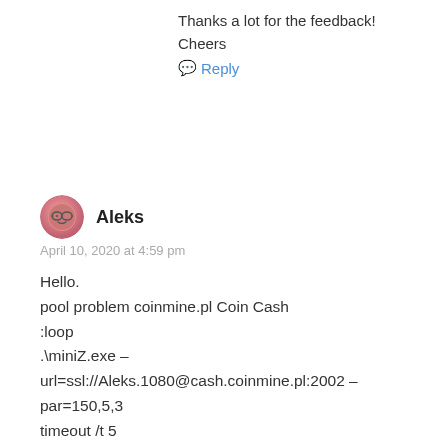Thanks a lot for the feedback!
Cheers
Reply
Aleks
April 10, 2020 at 4:59 pm
Hello.
pool problem coinmine.pl Coin Cash
:loop
.\miniZ.exe –
url=ssl://Aleks.1080@cash.coinmine.pl:2002 –
par=150,5,3
timeout /t 5
goto loop
Reply